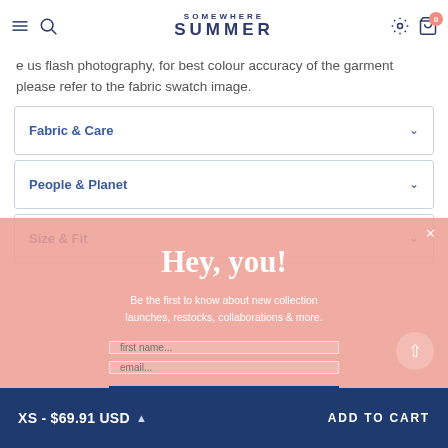SUMMER SOMEWHERE — navigation header with menu, search, settings, and cart icons
use flash photography, for best colour accuracy of the garment please refer to the fabric swatch image.
Fabric & Care
People & Planet
Size & Fit
Hey, you!
Be the first to know about new collection launches, restocks, collaborations & more.
first name...
email...
SIGN ME UP
You May Also Like...
XS - $69.91 USD   ADD TO CART